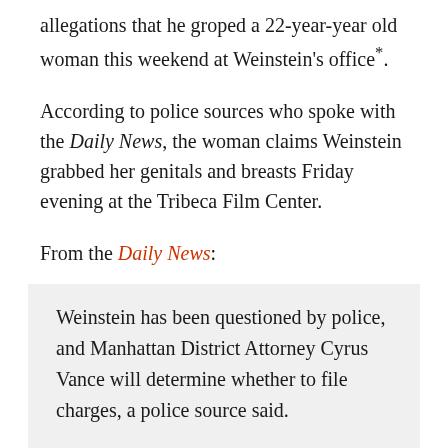allegations that he groped a 22-year-year old woman this weekend at Weinstein's office*.
According to police sources who spoke with the Daily News, the woman claims Weinstein grabbed her genitals and breasts Friday evening at the Tribeca Film Center.
From the Daily News:
Weinstein has been questioned by police, and Manhattan District Attorney Cyrus Vance will determine whether to file charges, a police source said.
"He initiated the contact," the source said of